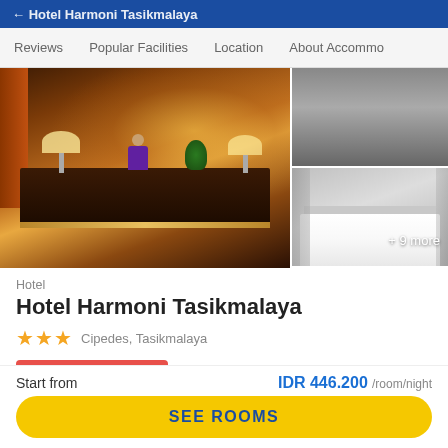Hotel Harmoni Tasikmalaya
Reviews  Popular Facilities  Location  About Accommo...
[Figure (photo): Hotel lobby with reception desk, staff member in purple shirt, decorative wall panel with gold patterns, and lamps. Right side shows two room photos, with a '+ 9 more' label.]
Hotel
Hotel Harmoni Tasikmalaya
★★★  Cipedes, Tasikmalaya
Diskon Elite Member
Start from
IDR 446.200 /room/night
SEE ROOMS